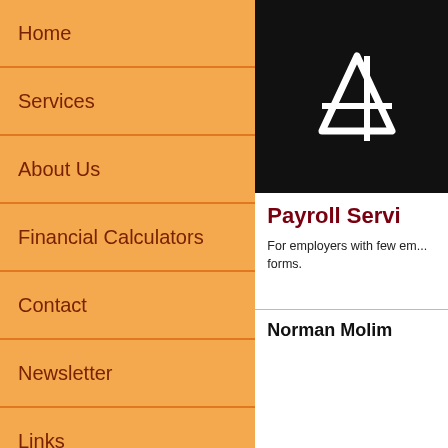Home
Services
About Us
Financial Calculators
Contact
Newsletter
Links
[Figure (logo): White angular logo mark on dark background]
Payroll Servi...
For employers with few em... forms.
Norman Molim...